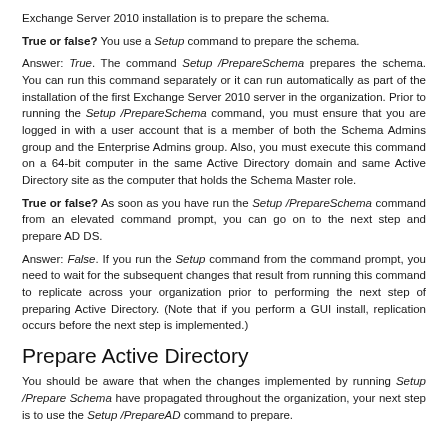Exchange Server 2010 installation is to prepare the schema.
True or false? You use a Setup command to prepare the schema.
Answer: True. The command Setup /PrepareSchema prepares the schema. You can run this command separately or it can run automatically as part of the installation of the first Exchange Server 2010 server in the organization. Prior to running the Setup /PrepareSchema command, you must ensure that you are logged in with a user account that is a member of both the Schema Admins group and the Enterprise Admins group. Also, you must execute this command on a 64-bit computer in the same Active Directory domain and same Active Directory site as the computer that holds the Schema Master role.
True or false? As soon as you have run the Setup /PrepareSchema command from an elevated command prompt, you can go on to the next step and prepare AD DS.
Answer: False. If you run the Setup command from the command prompt, you need to wait for the subsequent changes that result from running this command to replicate across your organization prior to performing the next step of preparing Active Directory. (Note that if you perform a GUI install, replication occurs before the next step is implemented.)
Prepare Active Directory
You should be aware that when the changes implemented by running Setup /Prepare Schema have propagated throughout the organization, your next step is to use the Setup /PrepareAD command to prepare.